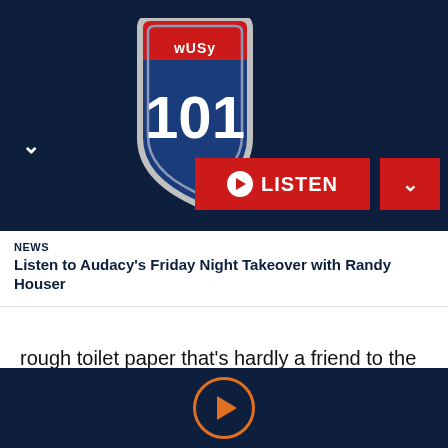[Figure (logo): WUSY 101 radio station shield logo with red top band and blue/silver shield design]
LISTEN
NEWS
Listen to Audacy's Friday Night Takeover with Randy Houser
rough toilet paper that's hardly a friend to the environment? Perhaps it's time for a little upgrade.
Going "smart" can serve as a great, environment-friendly solution, and this smart toilet seat, Aim to Wash!, is no exception. This gadget allows you to stay fresh with the power of water and air, leaving